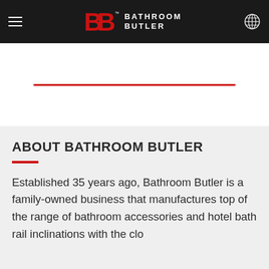BATHROOM BUTLER
ABOUT BATHROOM BUTLER
Established 35 years ago, Bathroom Butler is a family-owned business that manufactures top of the range of bathroom accessories and hotel bath rail inclinations with the close...